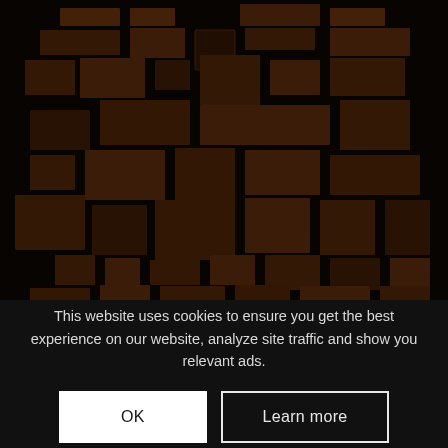[Figure (screenshot): Dark game map screenshot with brownish-orange tile/room layouts on a dark background, showing a complex dungeon or facility map.]
This website uses cookies to ensure you get the best experience on our website, analyze site traffic and show you relevant ads.
OK
Learn more